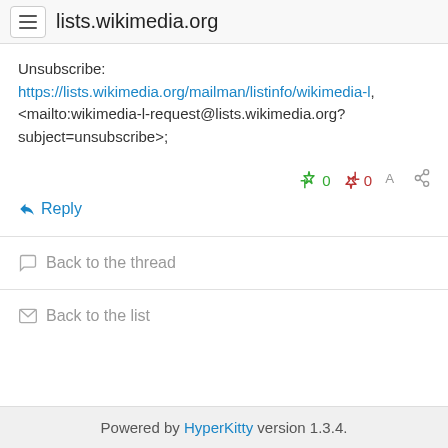lists.wikimedia.org
Unsubscribe:
https://lists.wikimedia.org/mailman/listinfo/wikimedia-l,
&lt;mailto:wikimedia-l-request@lists.wikimedia.org?subject=unsubscribe&gt;
0 0
↩ Reply
Back to the thread
Back to the list
Powered by HyperKitty version 1.3.4.